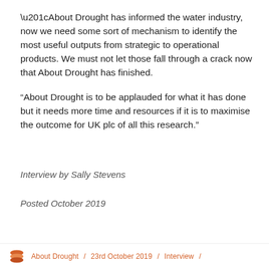“About Drought has informed the water industry, now we need some sort of mechanism to identify the most useful outputs from strategic to operational products. We must not let those fall through a crack now that About Drought has finished.
“About Drought is to be applauded for what it has done but it needs more time and resources if it is to maximise the outcome for UK plc of all this research.”
Interview by Sally Stevens
Posted October 2019
About Drought / 23rd October 2019 / Interview /